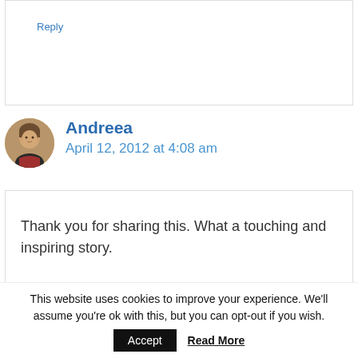Reply
Andreea
April 12, 2012 at 4:08 am
Thank you for sharing this. What a touching and inspiring story.
Reply
This website uses cookies to improve your experience. We'll assume you're ok with this, but you can opt-out if you wish.
Accept
Read More